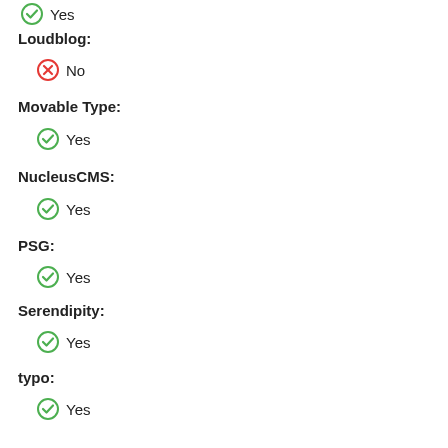Yes (partial, top cut off)
Loudblog:
No
Movable Type:
Yes
NucleusCMS:
Yes
PSG:
Yes
Serendipity:
Yes
typo:
Yes
Wheatblog:
No